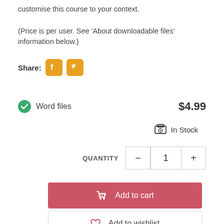customise this course to your context.

(Price is per user. See 'About downloadable files' information below.)
[Figure (other): Share row with Facebook and Twitter orange icon buttons]
Word files   $4.99
In Stock
QUANTITY  −  1  +
Add to cart
Add to wishlist